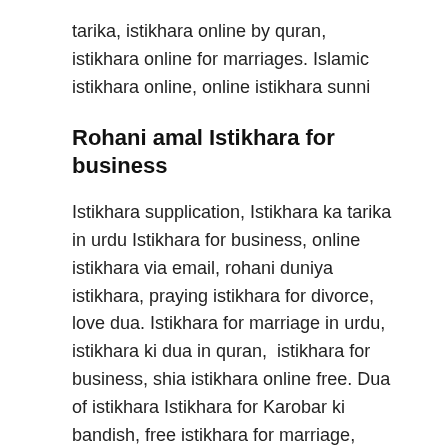tarika, istikhara online by quran, istikhara online for marriages. Islamic istikhara online, online istikhara sunni
Rohani amal Istikhara for business
Istikhara supplication, Istikhara ka tarika in urdu Istikhara for business, online istikhara via email, rohani duniya istikhara, praying istikhara for divorce, love dua. Istikhara for marriage in urdu, istikhara ki dua in quran, istikhara for business, shia istikhara online free. Dua of istikhara Istikhara for Karobar ki bandish, free istikhara for marriage, istikhara for marriage, istikhara online, qutab online istikhara. Islamic academy istikhara, marriage wazaif